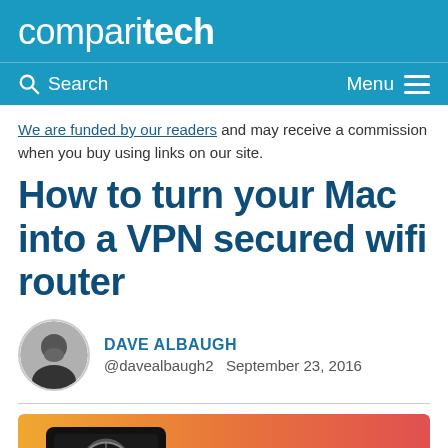comparitech
Search  Menu
We are funded by our readers and may receive a commission when you buy using links on our site.
How to turn your Mac into a VPN secured wifi router
DAVE ALBAUGH
@davealbaugh2  September 23, 2016
[Figure (photo): Article hero image with gradient background (yellow to red) containing a dark device mockup on left and partial text 'How to turn' on right]